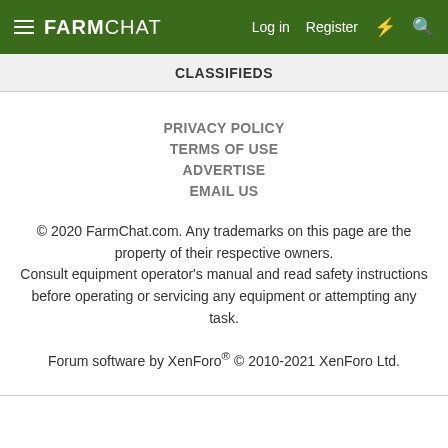FARMCHAT | Log in | Register
CLASSIFIEDS
PRIVACY POLICY
TERMS OF USE
ADVERTISE
EMAIL US
© 2020 FarmChat.com. Any trademarks on this page are the property of their respective owners. Consult equipment operator's manual and read safety instructions before operating or servicing any equipment or attempting any task.
Forum software by XenForo® © 2010-2021 XenForo Ltd.